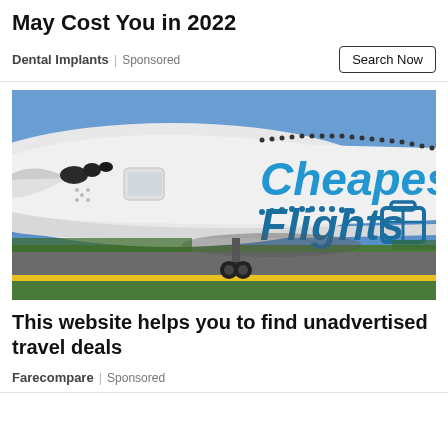May Cost You in 2022
Dental Implants | Sponsored
[Figure (photo): Close-up of the nose and fuselage of a large white commercial airplane on a runway, with 'Cheapest Flights' branding and a luggage icon in blue text on the fuselage. Blue sky in background with green fields visible.]
This website helps you to find unadvertised travel deals
Farecompare | Sponsored